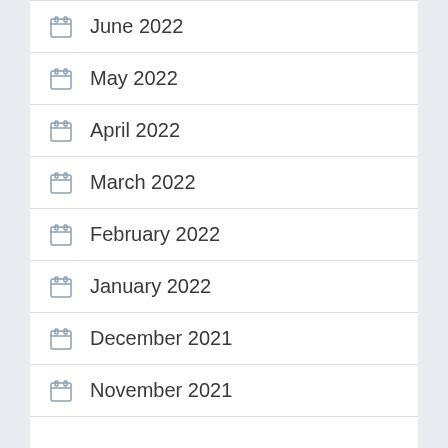June 2022
May 2022
April 2022
March 2022
February 2022
January 2022
December 2021
November 2021